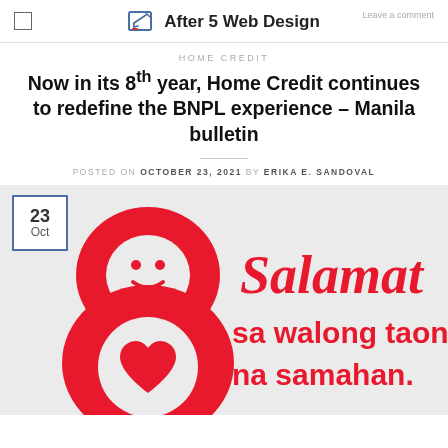After 5 Web Design
HOME CREDIT
Now in its 8th year, Home Credit continues to redefine the BNPL experience – Manila bulletin
POSTED ON OCTOBER 23, 2021 BY ERIKA E. SANDOVAL
[Figure (illustration): Home Credit 8th anniversary promotional image with a large red number 8 (with a smiley face in the top loop and a heart in the bottom loop), a small calendar badge showing '23 Oct', and text reading 'Salamat sa walong taon na samahan.' in red script and bold fonts on a light grey background.]